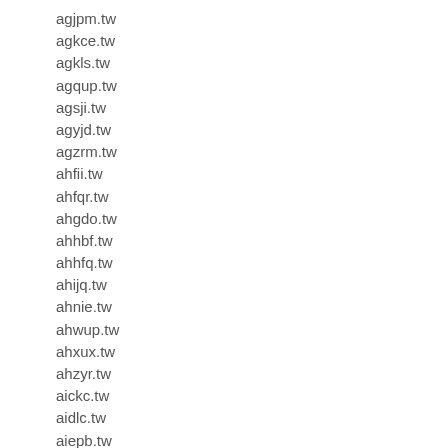agjpm.tw
agkce.tw
agkls.tw
agqup.tw
agsji.tw
agyjd.tw
agzrm.tw
ahfii.tw
ahfqr.tw
ahgdo.tw
ahhbf.tw
ahhfq.tw
ahijq.tw
ahnie.tw
ahwup.tw
ahxux.tw
ahzyr.tw
aickc.tw
aidlc.tw
aiepb.tw
aikmv.tw
aimba.tw
aimca.tw
ainfx.tw